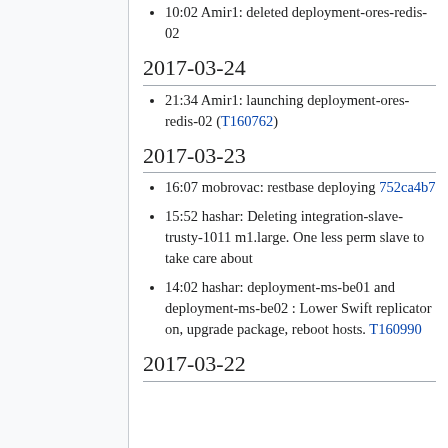10:02 Amir1: deleted deployment-ores-redis-02
2017-03-24
21:34 Amir1: launching deployment-ores-redis-02 (T160762)
2017-03-23
16:07 mobrovac: restbase deploying 752ca4b7
15:52 hashar: Deleting integration-slave-trusty-1011 m1.large. One less perm slave to take care about
14:02 hashar: deployment-ms-be01 and deployment-ms-be02 : Lower Swift replicator on, upgrade package, reboot hosts. T160990
2017-03-22